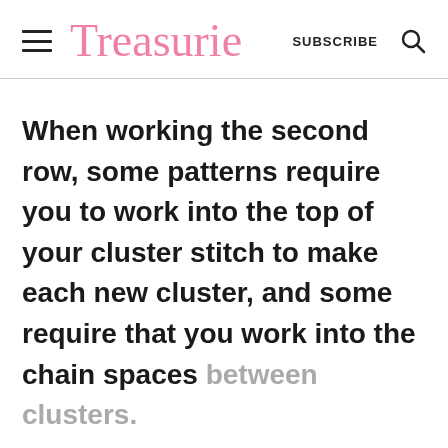Treasurie  SUBSCRIBE
When working the second row, some patterns require you to work into the top of your cluster stitch to make each new cluster, and some require that you work into the chain spaces between clusters.